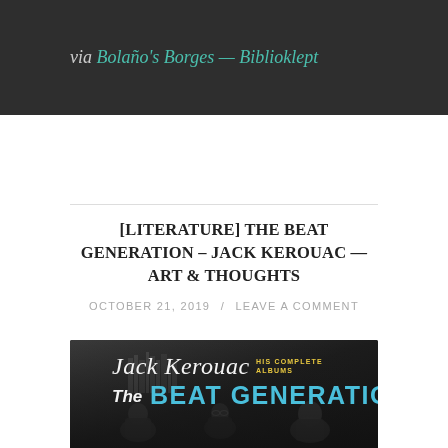via Bolaño's Borges — Biblioklept
[LITERATURE] THE BEAT GENERATION – JACK KEROUAC — ART & THOUGHTS
OCTOBER 21, 2019 / LEAVE A COMMENT
[Figure (photo): Album cover for Jack Kerouac: His Complete Albums – The Beat Generation. White script text reading 'Jack Kerouac' over a black and white photo of people gathered around a table. Below, bold teal/blue text reads 'The BEAT GENERATION' with yellow text 'His Complete Albums' to the right.]